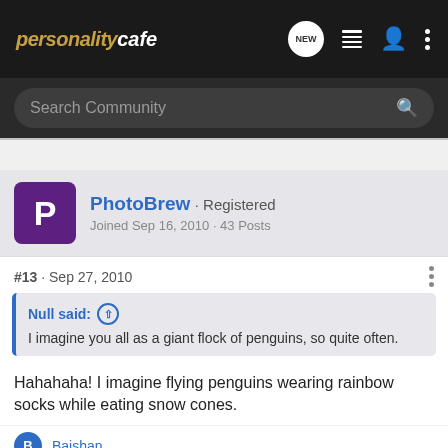personality cafe
Search Community
PhotoBrew · Registered
Joined Sep 16, 2010 · 43 Posts
#13 · Sep 27, 2010
Null said: ↑
I imagine you all as a giant flock of penguins, so quite often.
Hahahaha! I imagine flying penguins wearing rainbow socks while eating snow cones.
Baishan